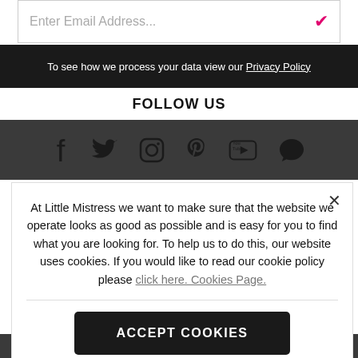Enter Email Address...
To see how we process your data view our Privacy Policy
FOLLOW US
[Figure (infographic): Social media icons: Facebook, Twitter, Instagram, Pinterest, YouTube, chat/comment bubble]
At Little Mistress we want to make sure that the website we operate looks as good as possible and is easy for you to find what you are looking for. To help us to do this, our website uses cookies. If you would like to read our cookie policy please click here. Cookies Page.
ACCEPT COOKIES